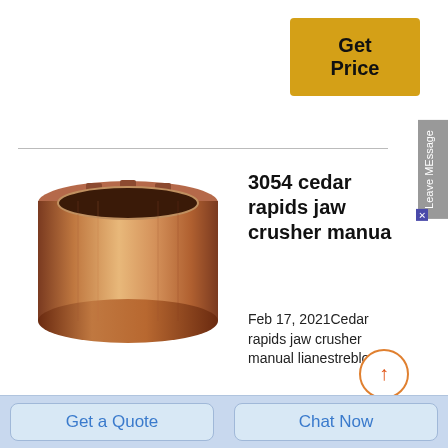[Figure (other): Yellow 'Get Price' button in top right area of page]
[Figure (other): Grey vertical 'Leave MEssage' sidebar tab with X close button]
[Figure (photo): Copper/bronze cylindrical bush or sleeve crusher wear part, metallic sheen, shown against white background]
3054 cedar rapids jaw crusher manua
Feb 17, 2021Cedar rapids jaw crusher manual lianestreblow.
rapids 3042 portable jaw crusher specifications.cedar rapids crushersmanganese wear parts for jaw style cedar rapids crushers a jaw crusher ought to not be sized towards the maximum size rock that might be fed towards
[Figure (other): Circular scroll-to-top button with upward arrow, orange arrow on white circle with orange border]
Get a Quote
Chat Now